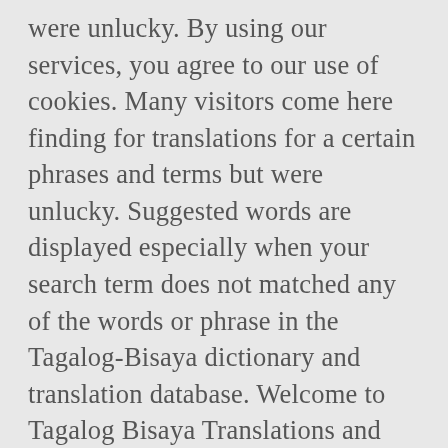were unlucky. By using our services, you agree to our use of cookies. Many visitors come here finding for translations for a certain phrases and terms but were unlucky. Suggested words are displayed especially when your search term does not matched any of the words or phrase in the Tagalog-Bisaya dictionary and translation database. Welcome to Tagalog Bisaya Translations and Dictionary. Mga Bisaya translation in Tagalog-English dictionary. nagbis a ya. Cebuano. Info. English. See more translations below. Today, we will have a list of a Bisaya words but have multiple meaning. more. (This bottle's shape is different.) The best site for people who loves Tagalog language offering Tagalog Bisaya Translations and